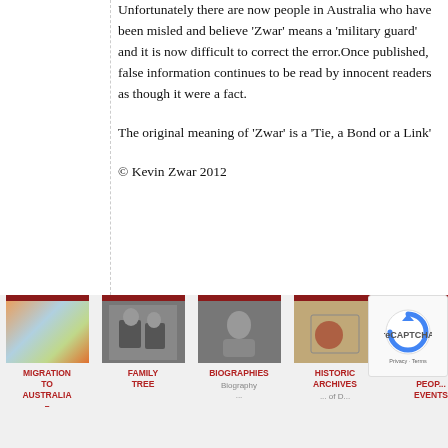Unfortunately there are now people in Australia who have been misled and believe 'Zwar' means a 'military guard' and it is now difficult to correct the error.Once published, false information continues to be read by innocent readers as though it were a fact.
The original meaning of 'Zwar' is a 'Tie, a Bond or a Link'
© Kevin Zwar 2012
[Figure (photo): Navigation footer with five category cards: Migration to Australia, Family Tree, Biographies, Historic Archives, Notable People Events. Each card has a colored top bar, a photo, and a red label.]